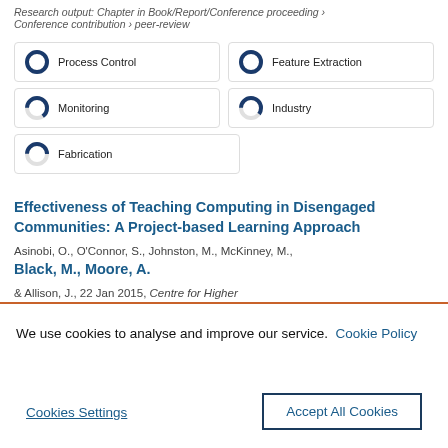Research output: Chapter in Book/Report/Conference proceeding › Conference contribution › peer-review
[Figure (infographic): Six keyword badges with donut chart icons showing percentage fill: Process Control (100%), Feature Extraction (100%), Monitoring (~65%), Industry (~60%), Fabrication (~50%)]
Effectiveness of Teaching Computing in Disengaged Communities: A Project-based Learning Approach
Asinobi, O., O'Connor, S., Johnston, M., McKinney, M., Black, M., Moore, A. & Allison, J., 22 Jan 2015, Centre for Higher
We use cookies to analyse and improve our service. Cookie Policy
Cookies Settings
Accept All Cookies